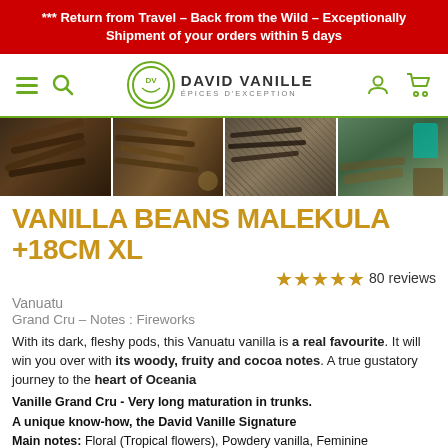*** Return from Travel – Back from the Wild – Exceptionally Shipment of your orders within 5 days
[Figure (logo): David Vanille Épices d'Exception logo with green circle emblem and navigation icons]
[Figure (photo): Strip of four product photos showing vanilla beans and processing]
VANILLA BEANS MALEKULA +18CM XL
80 reviews (5 stars)
Vanuatu
Grand Cru – Notes : Fireworks
With its dark, fleshy pods, this Vanuatu vanilla is a real favourite. It will win you over with its woody, fruity and cocoa notes. A true gustatory journey to the heart of Oceania
Vanille Grand Cru - Very long maturation in trunks.
A unique know-how, the David Vanille Signature
Main notes: Floral (Tropical flowers), Powdery vanilla, Feminine